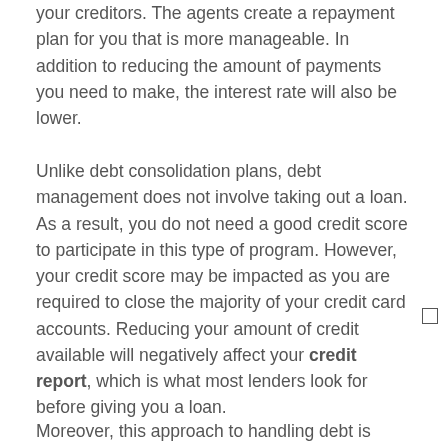your creditors. The agents create a repayment plan for you that is more manageable. In addition to reducing the amount of payments you need to make, the interest rate will also be lower.
Unlike debt consolidation plans, debt management does not involve taking out a loan. As a result, you do not need a good credit score to participate in this type of program. However, your credit score may be impacted as you are required to close the majority of your credit card accounts. Reducing your amount of credit available will negatively affect your credit report, which is what most lenders look for before giving you a loan.
Moreover, this approach to handling debt is strict.